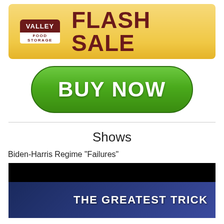[Figure (advertisement): Valley Food Storage flash sale advertisement banner with golden/yellow background, logo on left and 'FLASH SALE' text in dark red on right]
[Figure (other): Green rounded button with 'BUY NOW' text in white bold letters]
Shows
Biden-Harris Regime "Failures"
[Figure (screenshot): Show thumbnail with black top section and dark blue lower section showing 'THE GREATEST TRICK' text in white bold letters, with person visible at bottom left]